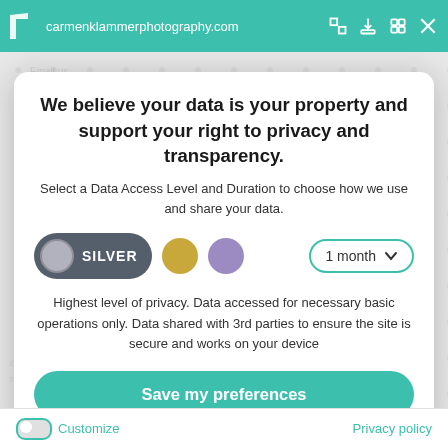[Figure (screenshot): Browser address bar with teal background showing URL carmenklammerphotography.com and browser action icons]
We believe your data is your property and support your right to privacy and transparency.
Select a Data Access Level and Duration to choose how we use and share your data.
[Figure (infographic): Data access level selector showing Silver option selected (dark pill button with grey circle), gold circle, purple circle, and 1 month dropdown]
Highest level of privacy. Data accessed for necessary basic operations only. Data shared with 3rd parties to ensure the site is secure and works on your device
[Figure (infographic): Save my preferences teal rounded button]
Customize
Privacy policy